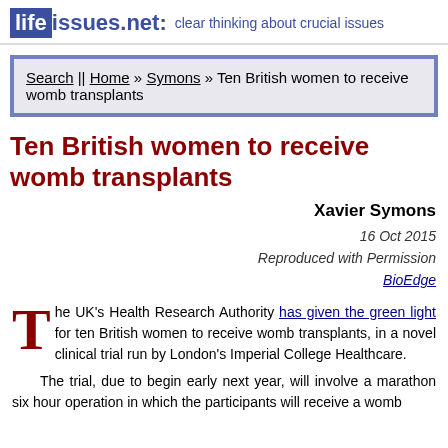lifeissues.net: clear thinking about crucial issues
Search || Home » Symons » Ten British women to receive womb transplants
Ten British women to receive womb transplants
Xavier Symons
16 Oct 2015
Reproduced with Permission
BioEdge
The UK's Health Research Authority has given the green light for ten British women to receive womb transplants, in a novel clinical trial run by London's Imperial College Healthcare.

The trial, due to begin early next year, will involve a marathon six hour operation in which the participants will receive a womb